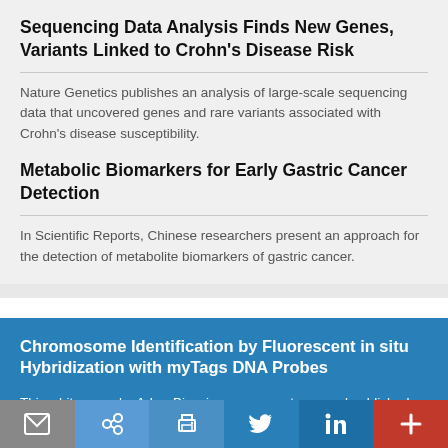Sequencing Data Analysis Finds New Genes, Variants Linked to Crohn's Disease Risk
Nature Genetics publishes an analysis of large-scale sequencing data that uncovered genes and rare variants associated with Crohn's disease susceptibility.
Metabolic Biomarkers for Early Gastric Cancer Detection
In Scientific Reports, Chinese researchers present an approach for the detection of metabolite biomarkers of gastric cancer.
Chromosome Identification by Fluorescent in situ Hybridization with myTags DNA Probes
This whitepaper by Arbor Biosciences presents several published applications of chromosome indexing in plants and outlines major points of consideration when undertaking new chromosome indexing projects for different species.
Social share bar: email, link, print, twitter, linkedin, plus